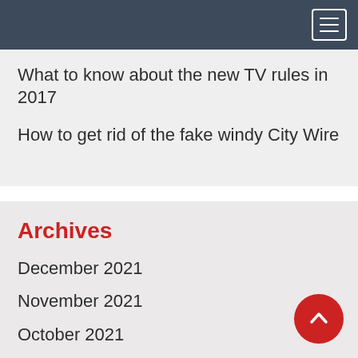Navigation bar with hamburger menu
What to know about the new TV rules in 2017
How to get rid of the fake windy City Wire
Archives
December 2021
November 2021
October 2021
September 2021
August 2021